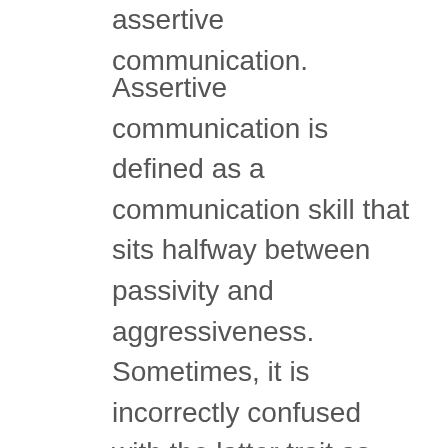assertive communication.
Assertive communication is defined as a communication skill that sits halfway between passivity and aggressiveness.  Sometimes, it is incorrectly confused with the latter trait as being assertive usually requires an individual to defend a position firmly and in a persistent manner.  However, assertive communication is so much more than simply expressing a viewpoint or opinion on a subject.  It is a balanced behavior that allows one to express thoughts and feelings in an open, straightforward, and correct way—respecting the beliefs of other people while defending your own.